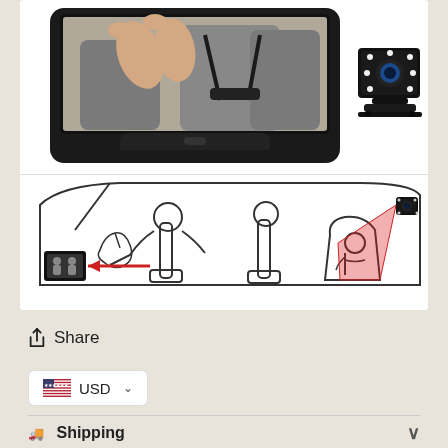[Figure (photo): Product photo of a baby car monitor: a black display unit showing a child in a car seat, with a small cube-shaped camera accessory shown separately. Below is a line-drawing diagram showing a driver viewing the monitor which receives feed from a camera mounted at the rear, angled toward a baby in a car seat.]
Share
USD
Shipping